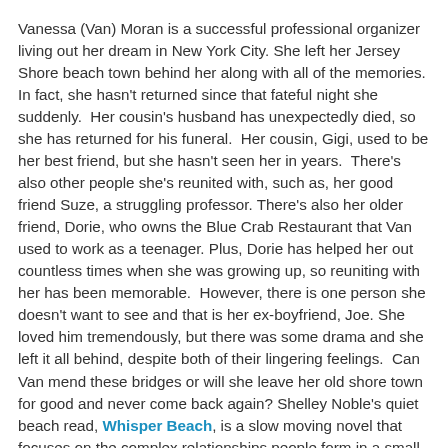Vanessa (Van) Moran is a successful professional organizer living out her dream in New York City. She left her Jersey Shore beach town behind her along with all of the memories.  In fact, she hasn't returned since that fateful night she suddenly.  Her cousin's husband has unexpectedly died, so she has returned for his funeral.  Her cousin, Gigi, used to be her best friend, but she hasn't seen her in years.  There's also other people she's reunited with, such as, her good friend Suze, a struggling professor. There's also her older friend, Dorie, who owns the Blue Crab Restaurant that Van used to work as a teenager. Plus, Dorie has helped her out countless times when she was growing up, so reuniting with her has been memorable.  However, there is one person she doesn't want to see and that is her ex-boyfriend, Joe. She loved him tremendously, but there was some drama and she left it all behind, despite both of their lingering feelings.  Can Van mend these bridges or will she leave her old shore town for good and never come back again? Shelley Noble's quiet beach read, Whisper Beach, is a slow moving novel that focuses on the complex relationships people form in a small town that knows your every move.